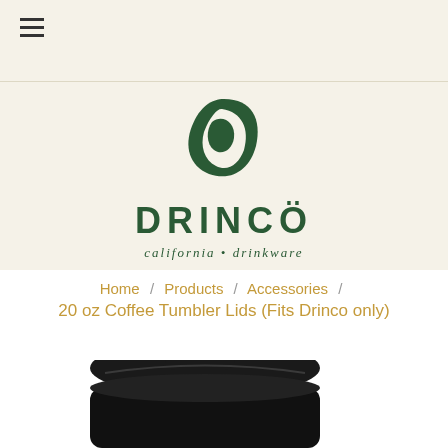Drinco — California Drinkware navigation header with hamburger menu
[Figure (logo): Drinco brand logo: dark green circular leaf/coffee bean icon above the text DRINCÒ in bold dark green uppercase letters, with italic tagline 'california • drinkware' below]
Home / Products / Accessories / 20 oz Coffee Tumbler Lids (Fits Drinco only)
[Figure (photo): Partial product photo of a dark black/charcoal colored coffee tumbler lid, showing the top and flip mechanism, visible in the lower portion of the page]